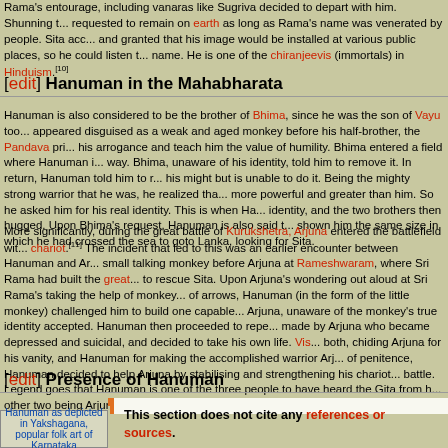Rama's entourage, including vanaras like Sugriva decided to depart with him. Shunning t... requested to remain on earth as long as Rama's name was venerated by people. Sita acc... and granted that his image would be installed at various public places, so he could listen t... name. He is one of the chiranjeevis (immortals) in Hinduism.[10]
[edit] Hanuman in the Mahabharata
Hanuman is also considered to be the brother of Bhima, since he was the son of Vayu too... appeared disguised as a weak and aged monkey before his half-brother, the Pandava pri... his arrogance and teach him the value of humility. Bhima entered a field where Hanuman i... way. Bhima, unaware of his identity, told him to remove it. In return, Hanuman told him to r... his might but is unable to do it. Being the mighty strong warrior that he was, he realized tha... more powerful and greater than him. So he asked him for his real identity. This is when Ha... identity, and the two brothers then hugged. Upon Bhima's request, Hanuman is also said t... shown him the same size in which he had crossed the sea to goto Lanka, looking for Sita.
More significantly, during the great battle of Kurukshetra, Arjuna entered the battlefield wit... chariot.[11] The incident that led to this was an earlier encounter between Hanuman and Ar... small talking monkey before Arjuna at Rameshwaram, where Sri Rama had built the great... to rescue Sita. Upon Arjuna's wondering out aloud at Sri Rama's taking the help of monkey... of arrows, Hanuman (in the form of the little monkey) challenged him to build one capable... Arjuna, unaware of the monkey's true identity accepted. Hanuman then proceeded to repe... made by Arjuna who became depressed and suicidal, and decided to take his own life. Vis... both, chiding Arjuna for his vanity, and Hanuman for making the accomplished warrior Arj... of penitence, Hanuman decided to help Arjuna by stabilising and strengthening his chariot... battle. Legend goes that Hanuman is one of the three people to have heard the Gita from h... other two being Arjuna and Sanjaya.
[edit] Presence of Hanuman
This section does not cite any references or sources. Please improve this section by adding citations to reliable sources. Unverifiable content may be challenged and removed. (December 2006)
Hanuman as depicted in Yakshagana, popular folk art of Karnataka